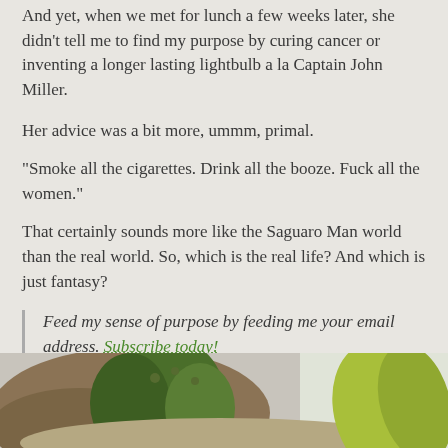And yet, when we met for lunch a few weeks later, she didn't tell me to find my purpose by curing cancer or inventing a longer lasting lightbulb a la Captain John Miller.
Her advice was a bit more, ummm, primal.
“Smoke all the cigarettes. Drink all the booze. Fuck all the women.”
That certainly sounds more like the Saguaro Man world than the real world. So, which is the real life? And which is just fantasy?
Feed my sense of purpose by feeding me your email address. Subscribe today!
[Figure (photo): Close-up photo of a cactus or natural object with green and brown textures, partially visible at the bottom of the page.]